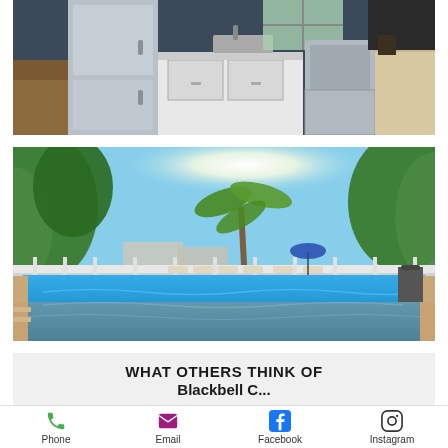[Figure (photo): Interior kitchen photo showing stainless steel refrigerator, white cabinets with sink, stainless steel oven/range, and wooden furniture on the right side]
[Figure (photo): Outdoor pool photo showing a large rectangular swimming pool with blue water, surrounded by a white fence, lounge chairs, and lush tropical trees with bright sunlight]
WHAT OTHERS THINK OF
Blackbell C...
Phone
Email
Facebook
Instagram